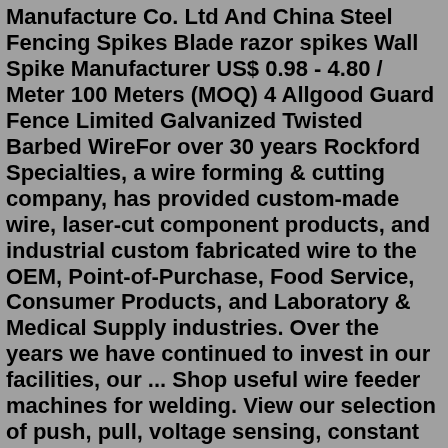Manufacture Co. Ltd And China Steel Fencing Spikes Blade razor spikes Wall Spike Manufacturer US$ 0.98 - 4.80 / Meter 100 Meters (MOQ) 4 Allgood Guard Fence Limited Galvanized Twisted Barbed WireFor over 30 years Rockford Specialties, a wire forming & cutting company, has provided custom-made wire, laser-cut component products, and industrial custom fabricated wire to the OEM, Point-of-Purchase, Food Service, Consumer Products, and Laboratory & Medical Supply industries. Over the years we have continued to invest in our facilities, our ... Shop useful wire feeder machines for welding. View our selection of push, pull, voltage sensing, constant speed, dual wire, and portable wire feeds. Fast shipping from Wisconsin and Illinois! Free Shipping Over $300. Our Locations Questions or phone orders: 1-844-682-0205. Welders All Welding Supplies. Welders;Wire is available in size ranges from 0.017" - 0.068". Larger diameters can be special ordered up to .098". All Corrostan conforms to ASTM-A-228 & SAE-J-178. Learn More. Gibbs Interwire is an ISO 9001:2015